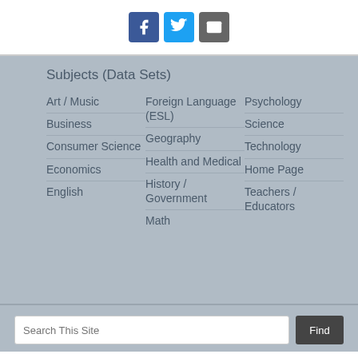[Figure (other): Social media icons: Facebook (blue), Twitter (light blue), Email (grey)]
Subjects (Data Sets)
Art / Music
Business
Consumer Science
Economics
English
Foreign Language (ESL)
Geography
Health and Medical
History / Government
Math
Psychology
Science
Technology
Home Page
Teachers / Educators
Search This Site